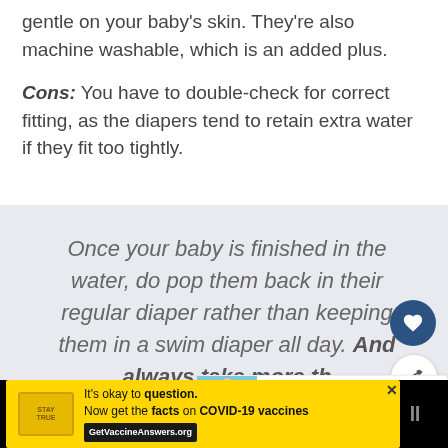gentle on your baby's skin. They're also machine washable, which is an added plus.
Cons: You have to double-check for correct fitting, as the diapers tend to retain extra water if they fit too tightly.
Once your baby is finished in the water, do pop them back in their regular diaper rather than keeping them in a swim diaper all day. And always take more than one! Accidents do happen and you'll want a backup pair.
[Figure (other): What's Next thumbnail showing a person in wetsuits with text Best Baby Wetsuits an...]
[Figure (other): Advertisement bar: It's okay to question. Now get the facts on COVID-19 vaccines. GetVaccineAnswers.org]